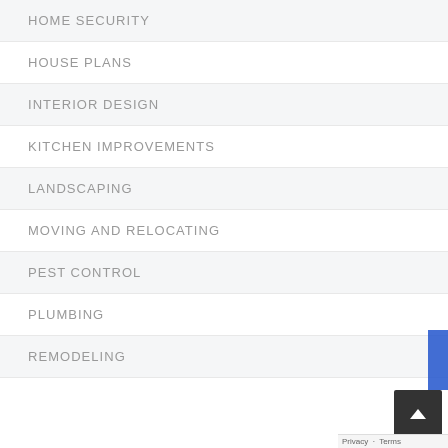HOME SECURITY
HOUSE PLANS
INTERIOR DESIGN
KITCHEN IMPROVEMENTS
LANDSCAPING
MOVING AND RELOCATING
PEST CONTROL
PLUMBING
REMODELING